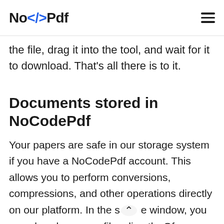No</> Pdf
the file, drag it into the tool, and wait for it to download. That's all there is to it.
Documents stored in NoCodePdf
Your papers are safe in our storage system if you have a NoCodePdf account. This allows you to perform conversions, compressions, and other operations directly on our platform. In the s⌃ e window, you can also share your files directly. Of course, you have the option of deleting the files if